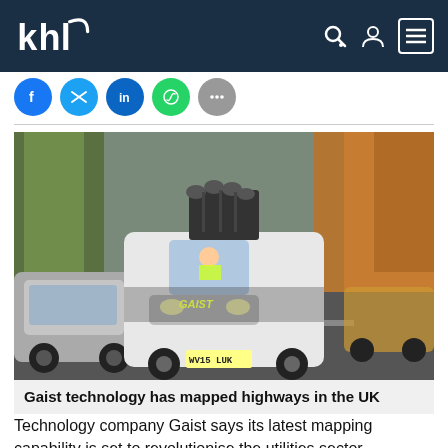khl
[Figure (photo): A white Citroën van equipped with a roof-mounted survey/mapping camera rig driving on a UK road, surrounded by other vehicles and autumn trees.]
Gaist technology has mapped highways in the UK
Technology company Gaist says its latest mapping capability is set to revolutionise the utilities sector.